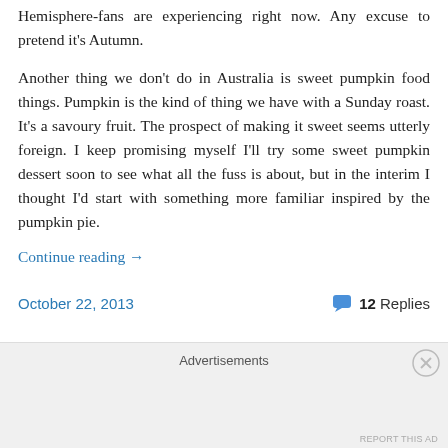Hemisphere-fans are experiencing right now. Any excuse to pretend it's Autumn.
Another thing we don't do in Australia is sweet pumpkin food things. Pumpkin is the kind of thing we have with a Sunday roast. It's a savoury fruit. The prospect of making it sweet seems utterly foreign. I keep promising myself I'll try some sweet pumpkin dessert soon to see what all the fuss is about, but in the interim I thought I'd start with something more familiar inspired by the pumpkin pie.
Continue reading →
October 22, 2013   💬 12 Replies
Advertisements